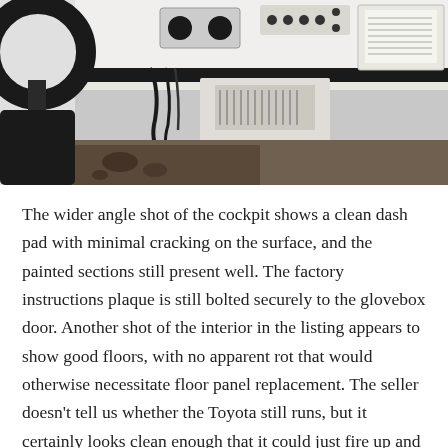[Figure (photo): Interior photograph of a vintage Toyota truck cockpit showing the steering wheel on the left, white painted dashboard with various controls and switches, a glovebox with factory instructions plaque, center console area, and worn floor with visible dirt and aging.]
The wider angle shot of the cockpit shows a clean dash pad with minimal cracking on the surface, and the painted sections still present well. The factory instructions plaque is still bolted securely to the glovebox door. Another shot of the interior in the listing appears to show good floors, with no apparent rot that would otherwise necessitate floor panel replacement. The seller doesn't tell us whether the Toyota still runs, but it certainly looks clean enough that it could just fire up and go. The steering wheel is particularly nice with